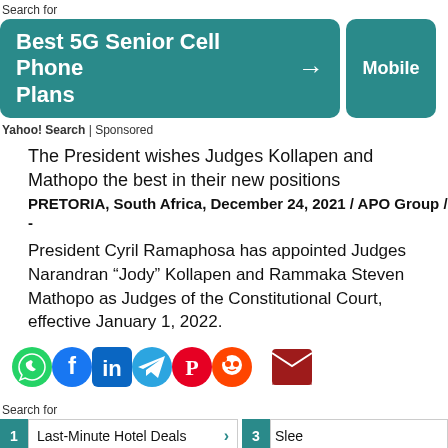Search for
[Figure (screenshot): Ad banner: Best 5G Senior Cell Phone Plans with arrow, and Mobile button on right, teal background]
Yahoo! Search | Sponsored
The President wishes Judges Kollapen and Mathopo the best in their new positions
PRETORIA, South Africa, December 24, 2021 / APO Group / -
President Cyril Ramaphosa has appointed Judges Narandran “Jody” Kollapen and Rammaka Steven Mathopo as Judges of the Constitutional Court, effective January 1, 2022.
[Figure (infographic): Social sharing icons row: WhatsApp (green), Facebook (blue), Twitter (light blue), LinkedIn (dark blue), Telegram (blue), Pinterest (red), Reddit (orange-red), Email (dark red)]
Search for
[Figure (screenshot): Ad list with 4 items: 1 Last-Minute Hotel Deals, 2 Free Internet TV Streaming, 3 Slee..., 4 Digi... in teal/white style]
Yahoo! Search | Sponsored